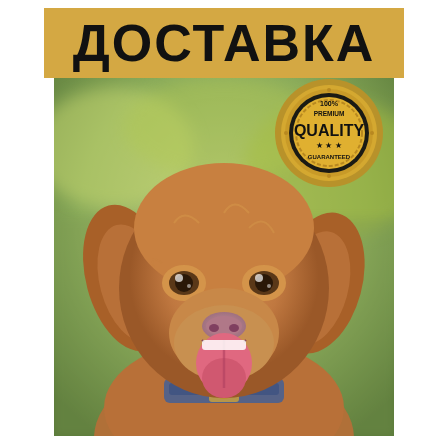ДОСТАВКА
[Figure (photo): Photo of a happy golden/red retriever dog with mouth open and tongue out, wearing a denim collar, photographed outdoors with a blurred green background. A Premium Quality Guaranteed gold seal badge is overlaid in the upper right corner of the image.]